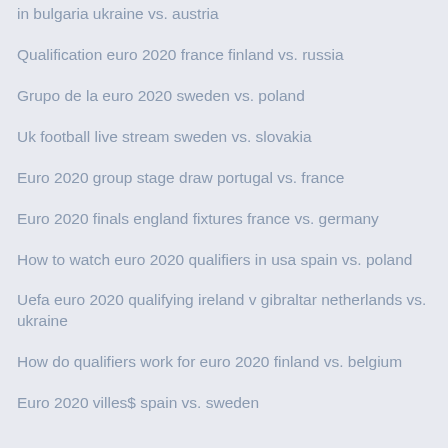in bulgaria ukraine vs. austria
Qualification euro 2020 france finland vs. russia
Grupo de la euro 2020 sweden vs. poland
Uk football live stream sweden vs. slovakia
Euro 2020 group stage draw portugal vs. france
Euro 2020 finals england fixtures france vs. germany
How to watch euro 2020 qualifiers in usa spain vs. poland
Uefa euro 2020 qualifying ireland v gibraltar netherlands vs. ukraine
How do qualifiers work for euro 2020 finland vs. belgium
Euro 2020 villes$ spain vs. sweden